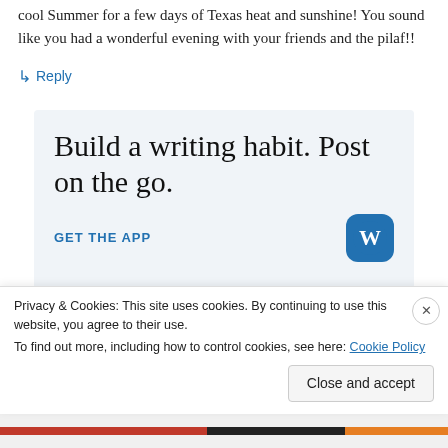cool Summer for a few days of Texas heat and sunshine! You sound like you had a wonderful evening with your friends and the pilaf!!
↳ Reply
[Figure (infographic): Advertisement box with light blue background showing text 'Build a writing habit. Post on the go.' with a 'GET THE APP' link and WordPress logo icon]
Privacy & Cookies: This site uses cookies. By continuing to use this website, you agree to their use.
To find out more, including how to control cookies, see here: Cookie Policy
Close and accept